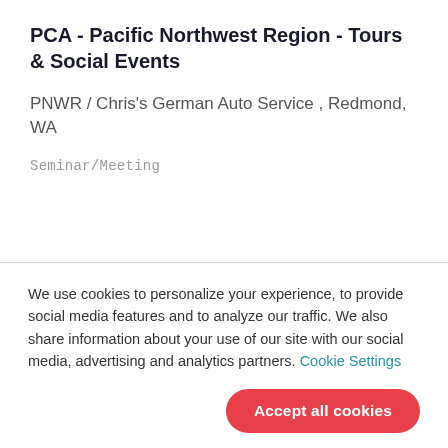PCA - Pacific Northwest Region - Tours & Social Events
PNWR / Chris's German Auto Service , Redmond, WA
Seminar/Meeting
We use cookies to personalize your experience, to provide social media features and to analyze our traffic. We also share information about your use of our site with our social media, advertising and analytics partners. Cookie Settings
Accept all cookies